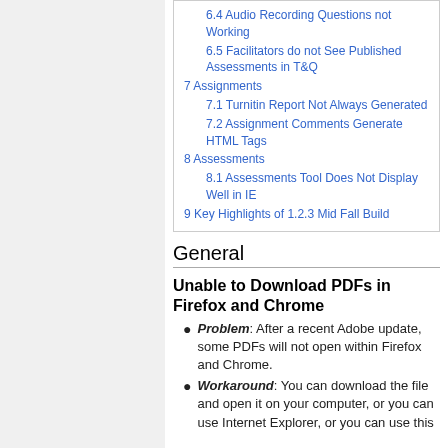6.4 Audio Recording Questions not Working
6.5 Facilitators do not See Published Assessments in T&Q
7 Assignments
7.1 Turnitin Report Not Always Generated
7.2 Assignment Comments Generate HTML Tags
8 Assessments
8.1 Assessments Tool Does Not Display Well in IE
9 Key Highlights of 1.2.3 Mid Fall Build
General
Unable to Download PDFs in Firefox and Chrome
Problem: After a recent Adobe update, some PDFs will not open within Firefox and Chrome.
Workaround: You can download the file and open it on your computer, or you can use Internet Explorer, or you can use this